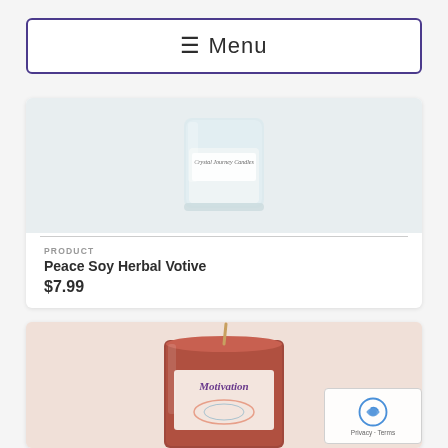[Figure (screenshot): Navigation menu button with hamburger icon and 'Menu' text, purple border]
[Figure (photo): Peace Soy Herbal Votive candle in a clear glass jar with 'Crystal Journey Candles' label]
PRODUCT
Peace Soy Herbal Votive
$7.99
[Figure (photo): Motivation candle in a red/brown glass jar with wick and label reading 'Motivation']